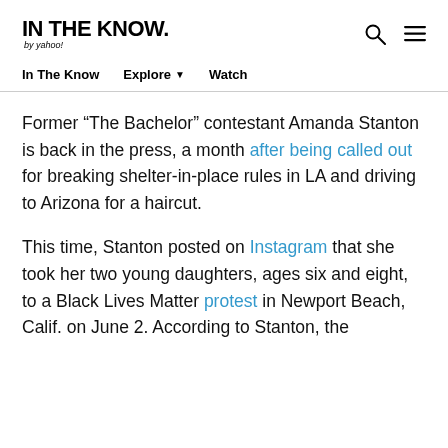IN THE KNOW. by yahoo!
In The Know   Explore ▾   Watch
Former “The Bachelor” contestant Amanda Stanton is back in the press, a month after being called out for breaking shelter-in-place rules in LA and driving to Arizona for a haircut.
This time, Stanton posted on Instagram that she took her two young daughters, ages six and eight, to a Black Lives Matter protest in Newport Beach, Calif. on June 2. According to Stanton, the